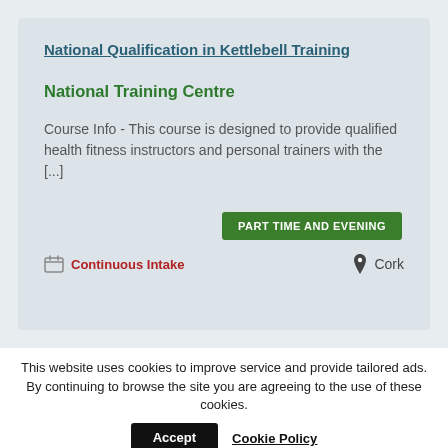National Qualification in Kettlebell Training
National Training Centre
Course Info - This course is designed to provide qualified health fitness instructors and personal trainers with the [...]
PART TIME AND EVENING
Continuous Intake
Cork
This website uses cookies to improve service and provide tailored ads. By continuing to browse the site you are agreeing to the use of these cookies.
Accept
Cookie Policy